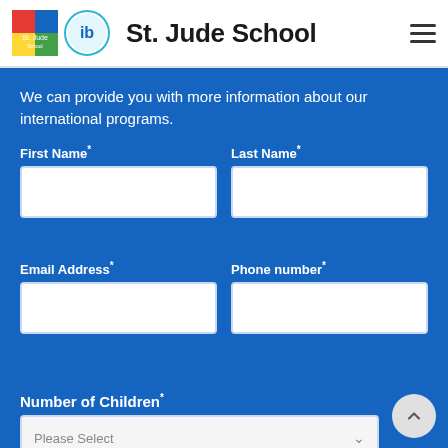St. Jude School
We can provide you with more information about our international programs.
First Name* | Last Name* (form fields)
Email Address* | Phone number* (form fields)
Number of Children* (dropdown: Please Select)